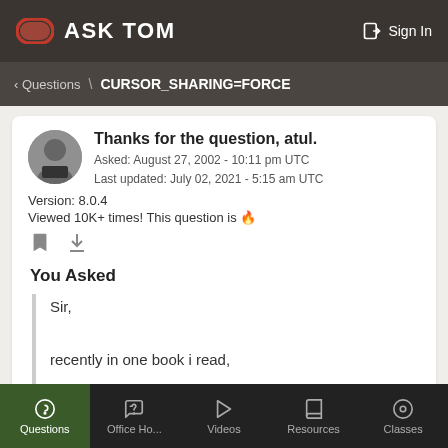ASK TOM   Sign In
< Questions \ CURSOR_SHARING=FORCE
Thanks for the question, atul.
Asked: August 27, 2002 - 10:11 pm UTC
Last updated: July 02, 2021 - 5:15 am UTC
Version: 8.0.4
Viewed 10K+ times! This question is 🔥
You Asked
Sir,

recently in one book i read,

"In the old days, it was up to the developers to build
Questions   Office Ho...   Videos   Resources   Classes